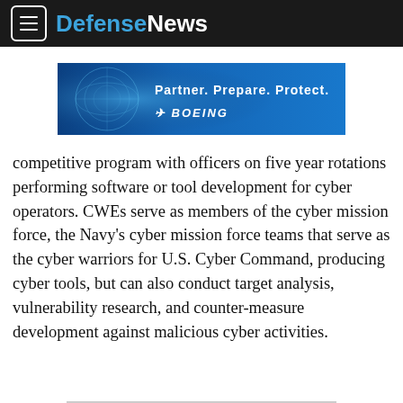DefenseNews
[Figure (illustration): Boeing advertisement banner with blue background, globe/network imagery, text 'Partner. Prepare. Protect.' and Boeing logo]
competitive program with officers on five year rotations performing software or tool development for cyber operators. CWEs serve as members of the cyber mission force, the Navy’s cyber mission force teams that serve as the cyber warriors for U.S. Cyber Command, producing cyber tools, but can also conduct target analysis, vulnerability research, and counter-measure development against malicious cyber activities.